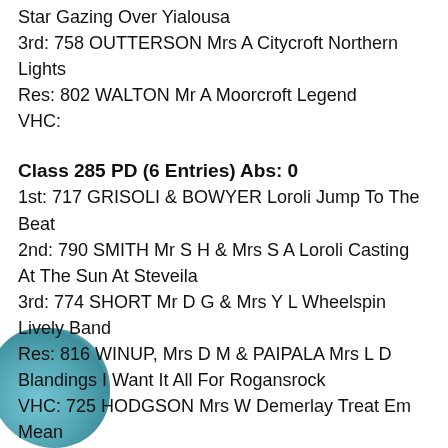Star Gazing Over Yialousa
3rd: 758 OUTTERSON Mrs A Citycroft Northern Lights
Res: 802 WALTON Mr A Moorcroft Legend
VHC:
Class 285 PD (6 Entries) Abs: 0
1st: 717 GRISOLI & BOWYER Loroli Jump To The Beat
2nd: 790 SMITH Mr S H & Mrs S A Loroli Casting At The Sun At Steveila
3rd: 774 SHORT Mr D G & Mrs Y L Wheelspin Lively Band
Res: 816 WINUP, Mrs D M & PAIPALA Mrs L D Blandings I Want It All For Rogansrock
VHC: 725 HODGSON Mrs W Demerlay Treat Em Mean
Class 286 JD (9 Entries) Abs: 2
1st: 756 NEWTON Mr J N Layways Royal Mosaic of Nevedith
2nd: 681 BECKETT BRADSHAW Ms A K Collooney